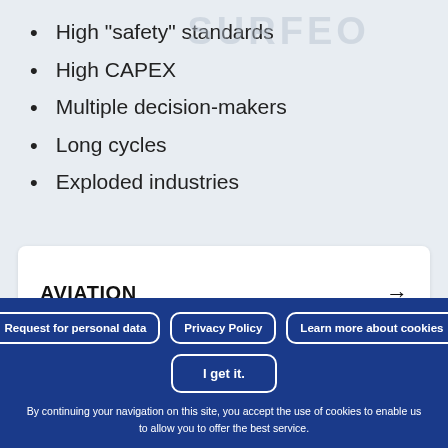High "safety" standards
High CAPEX
Multiple decision-makers
Long cycles
Exploded industries
AVIATION
Request for personal data
Privacy Policy
Learn more about cookies
I get it.
By continuing your navigation on this site, you accept the use of cookies to enable us to allow you to offer the best service.